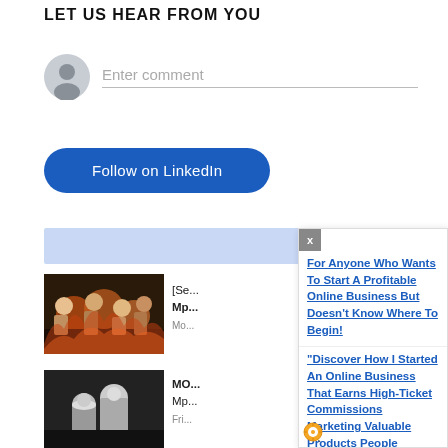LET US HEAR FROM YOU
[Figure (screenshot): Comment input area with user avatar icon and placeholder text 'Enter comment' with underline]
[Figure (screenshot): Blue rounded 'Follow on LinkedIn' button]
[Figure (screenshot): Light blue bar element]
[Figure (photo): Movie thumbnail showing fantasy/group characters with fire background]
[Se... Mp... Mo...
[Figure (photo): Movie thumbnail showing couple in black and white (Fifty Shades style)]
MO... Mp... Fri...
[Figure (screenshot): Popup advertisement overlay with X close button, links about starting online business, and URL https://www.smdl.com.ng]